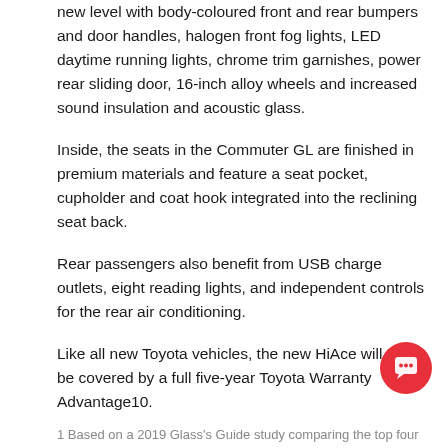new level with body-coloured front and rear bumpers and door handles, halogen front fog lights, LED daytime running lights, chrome trim garnishes, power rear sliding door, 16-inch alloy wheels and increased sound insulation and acoustic glass.
Inside, the seats in the Commuter GL are finished in premium materials and feature a seat pocket, cupholder and coat hook integrated into the reclining seat back.
Rear passengers also benefit from USB charge outlets, eight reading lights, and independent controls for the rear air conditioning.
Like all new Toyota vehicles, the new HiAce will also be covered by a full five-year Toyota Warranty Advantage10.
1 Based on a 2019 Glass's Guide study comparing the top four